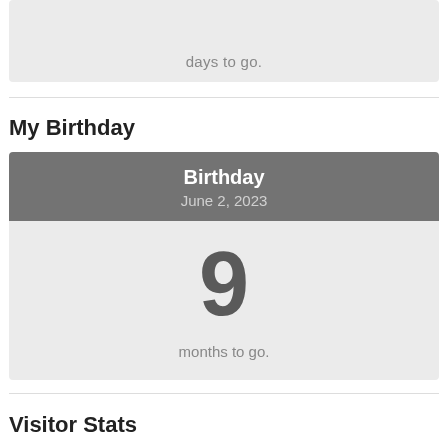days to go.
My Birthday
| Birthday | June 2, 2023 |
| --- | --- |
| 9 | months to go. |
Visitor Stats